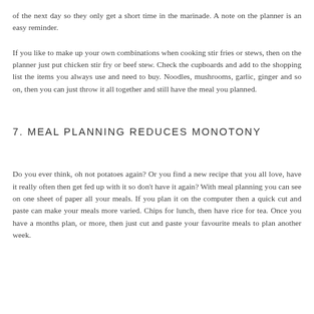of the next day so they only get a short time in the marinade. A note on the planner is an easy reminder.
If you like to make up your own combinations when cooking stir fries or stews, then on the planner just put chicken stir fry or beef stew. Check the cupboards and add to the shopping list the items you always use and need to buy. Noodles, mushrooms, garlic, ginger and so on, then you can just throw it all together and still have the meal you planned.
7. MEAL PLANNING REDUCES MONOTONY
Do you ever think, oh not potatoes again? Or you find a new recipe that you all love, have it really often then get fed up with it so don't have it again? With meal planning you can see on one sheet of paper all your meals. If you plan it on the computer then a quick cut and paste can make your meals more varied. Chips for lunch, then have rice for tea. Once you have a months plan, or more, then just cut and paste your favourite meals to plan another week.